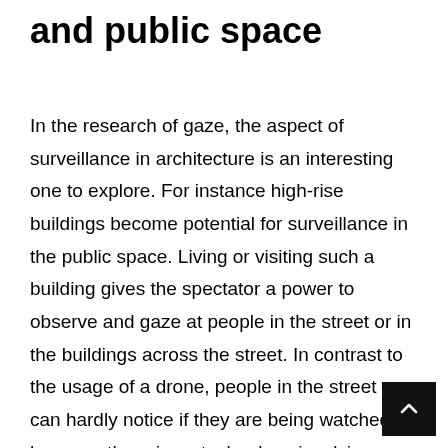and public space
In the research of gaze, the aspect of surveillance in architecture is an interesting one to explore. For instance high-rise buildings become potential for surveillance in the public space. Living or visiting such a building gives the spectator a power to observe and gaze at people in the street or in the buildings across the street. In contrast to the usage of a drone, people in the street can hardly notice if they are being watched because there is no technology involving sound which would suggest that there is